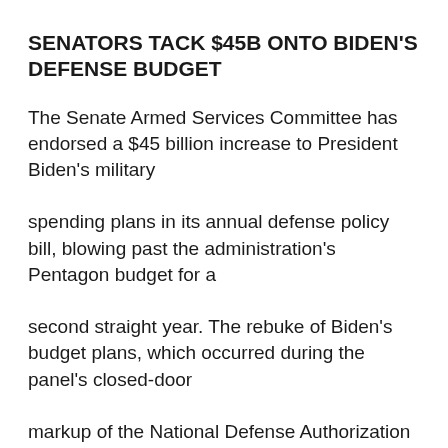SENATORS TACK $45B ONTO BIDEN'S DEFENSE BUDGET
The Senate Armed Services Committee has endorsed a $45 billion increase to President Biden's military spending plans in its annual defense policy bill, blowing past the administration's Pentagon budget for a second straight year. The rebuke of Biden's budget plans, which occurred during the panel's closed-door markup of the National Defense Authorization Act this week, comes after lawmakers added roughly $30 billion to the White House's previous defense spending proposal. This week's boost brings the bill's topline budget figure to $847 billion, according to Armed Services Chair Jack Reed (D-R.I.). The goal, he said, is